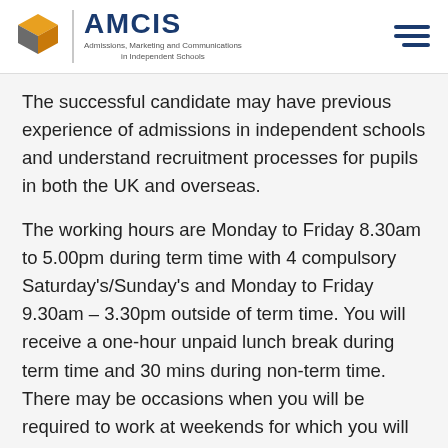AMCIS — Admissions, Marketing and Communications in Independent Schools
The successful candidate may have previous experience of admissions in independent schools and understand recruitment processes for pupils in both the UK and overseas.
The working hours are Monday to Friday 8.30am to 5.00pm during term time with 4 compulsory Saturday's/Sunday's and Monday to Friday 9.30am – 3.30pm outside of term time. You will receive a one-hour unpaid lunch break during term time and 30 mins during non-term time. There may be occasions when you will be required to work at weekends for which you will receive time off in lieu. The salary is up to £25,000.